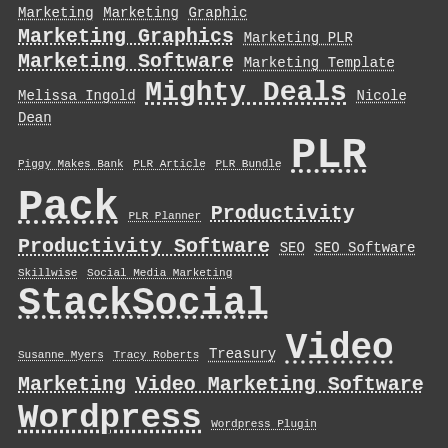Marketing Marketing Graphic Marketing Graphics Marketing PLR Marketing Software Marketing Template Melissa Ingold Mighty Deals Nicole Dean Piggy Makes Bank PLR Article PLR Bundle PLR PLR Pack PLR Planner Productivity Productivity Software SEO SEO Software Skillwise Social Media Marketing StackSocial Susanne Myers Tracy Roberts Treasury Video Marketing Video Marketing Software Wordpress Wordpress Plugin